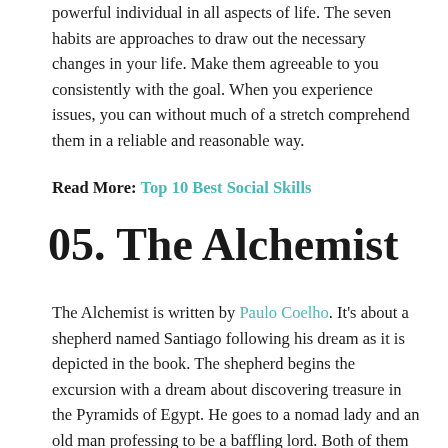powerful individual in all aspects of life. The seven habits are approaches to draw out the necessary changes in your life. Make them agreeable to you consistently with the goal. When you experience issues, you can without much of a stretch comprehend them in a reliable and reasonable way.
Read More: Top 10 Best Social Skills
05. The Alchemist
The Alchemist is written by Paulo Coelho. It's about a shepherd named Santiago following his dream as it is depicted in the book. The shepherd begins the excursion with a dream about discovering treasure in the Pyramids of Egypt. He goes to a nomad lady and an old man professing to be a baffling lord. Both of them encourage him to seek after it and continue his journey. The quotations that stood out to me were: “To realize one's destiny is a person's only obligation”.